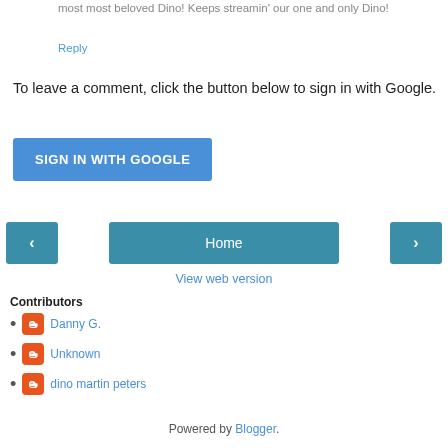most most beloved Dino! Keeps streamin' our one and only Dino!
Reply
To leave a comment, click the button below to sign in with Google.
[Figure (screenshot): Blue 'SIGN IN WITH GOOGLE' button]
[Figure (screenshot): Navigation bar with back arrow, Home button, and forward arrow]
View web version
Contributors
Danny G.
Unknown
dino martin peters
Powered by Blogger.